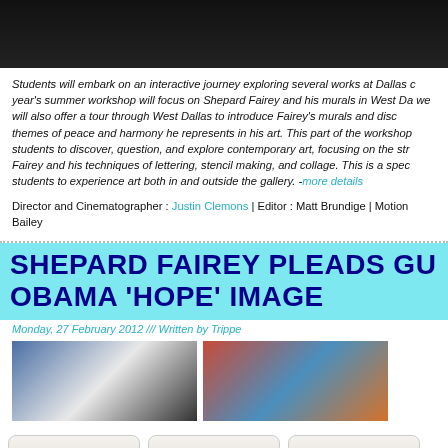[Figure (photo): Dark background image at top of page (partially visible, appears to be an event or video still)]
Students will embark on an interactive journey exploring several works at Dallas c year's summer workshop will focus on Shepard Fairey and his murals in West Da we will also offer a tour through West Dallas to introduce Fairey's murals and disc themes of peace and harmony he represents in his art. This part of the workshop students to discover, question, and explore contemporary art, focusing on the str Fairey and his techniques of lettering, stencil making, and collage. This is a spec students to experience art both in and outside the gallery. -more details
Director and Cinematographer : Justin Clemons | Editor : Matt Brundige | Motion Bailey
SHEPARD FAIREY PLEADS GU OBAMA 'HOPE' IMAGE
Monday, 27 February 2012 /// Written by Trippe
[Figure (photo): Two side-by-side photos: left shows a person (likely Obama) against blue background, right shows the colorful Obama 'Hope' artwork by Shepard Fairey]
HOME
NEWS
CALENDA